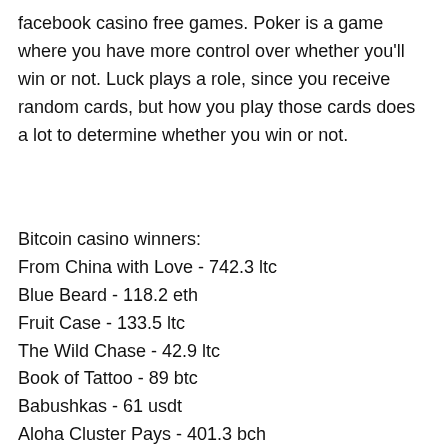facebook casino free games. Poker is a game where you have more control over whether you'll win or not. Luck plays a role, since you receive random cards, but how you play those cards does a lot to determine whether you win or not.
Bitcoin casino winners:
From China with Love - 742.3 ltc
Blue Beard - 118.2 eth
Fruit Case - 133.5 ltc
The Wild Chase - 42.9 ltc
Book of Tattoo - 89 btc
Babushkas - 61 usdt
Aloha Cluster Pays - 401.3 bch
Golden Girls - 574.7 bch
Juice'n'Fruits - 33.2 btc
Diamond Cherries - 539.4 ltc
Hula Girl - 95.7 dog
Big Top - 721.4 btc
Great Warrior - 189 btc